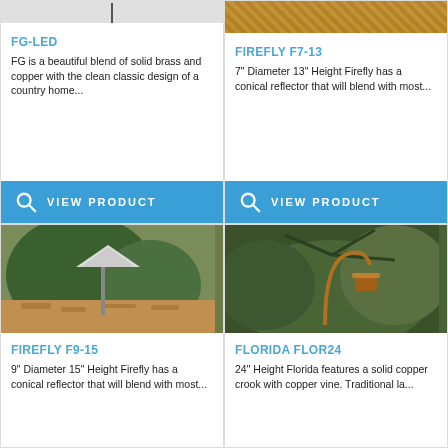[Figure (photo): Partial top of a lighting fixture product photo (FG-LED)]
FG-LED
FG is a beautiful blend of solid brass and copper with the clean classic design of a country home...
VIEW PRODUCT
[Figure (photo): Photo of outdoor landscape lighting (Firefly F7-13) surrounded by mulch/leaves]
FIREFLY F7-13
7" Diameter 13" Height Firefly has a conical reflector that will blend with most...
VIEW PRODUCT
[Figure (photo): Photo of Firefly F9-15 conical reflector landscape path light in garden]
FIREFLY F9-15
9" Diameter 15" Height Firefly has a conical reflector that will blend with most...
[Figure (photo): Photo of Florida FLOR24 copper crook landscape light in garden]
FLORIDA FLOR24
24" Height Florida features a solid copper crook with copper vine.  Traditional la...